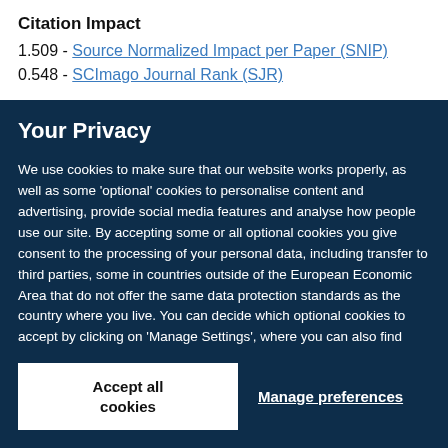Citation Impact
1.509 - Source Normalized Impact per Paper (SNIP)
0.548 - SCImago Journal Rank (SJR)
Your Privacy
We use cookies to make sure that our website works properly, as well as some 'optional' cookies to personalise content and advertising, provide social media features and analyse how people use our site. By accepting some or all optional cookies you give consent to the processing of your personal data, including transfer to third parties, some in countries outside of the European Economic Area that do not offer the same data protection standards as the country where you live. You can decide which optional cookies to accept by clicking on 'Manage Settings', where you can also find more information about how your personal data is processed. Further information can be found in our privacy policy.
Accept all cookies
Manage preferences